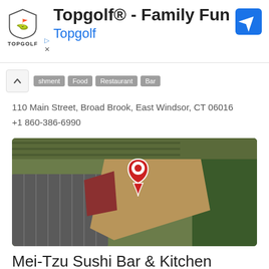Topgolf® - Family Fun
Topgolf
shment  Food  Restaurant  Bar
110 Main Street, Broad Brook, East Windsor, CT 06016
+1 860-386-6990
[Figure (map): Aerial/satellite map view showing a building with a red map pin marker dropped on it, surrounded by parking lot and trees.]
Mei-Tzu Sushi Bar & Kitchen